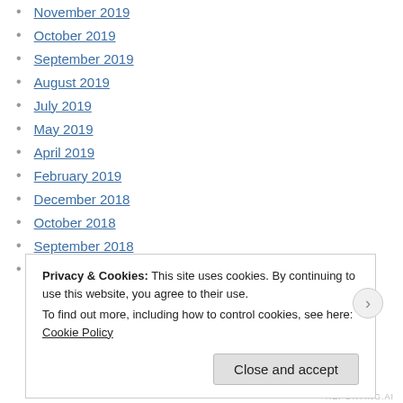November 2019
October 2019
September 2019
August 2019
July 2019
May 2019
April 2019
February 2019
December 2018
October 2018
September 2018
August 2018
Privacy & Cookies: This site uses cookies. By continuing to use this website, you agree to their use. To find out more, including how to control cookies, see here: Cookie Policy
Close and accept
REPORTING.AI